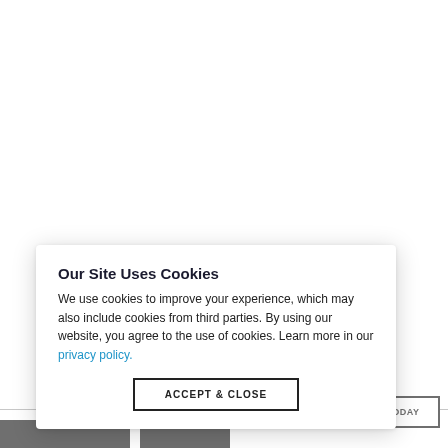[Figure (screenshot): White background page content partially visible behind a cookie consent modal overlay]
Our Site Uses Cookies
We use cookies to improve your experience, which may also include cookies from third parties. By using our website, you agree to the use of cookies. Learn more in our privacy policy.
ACCEPT & CLOSE
TODAY